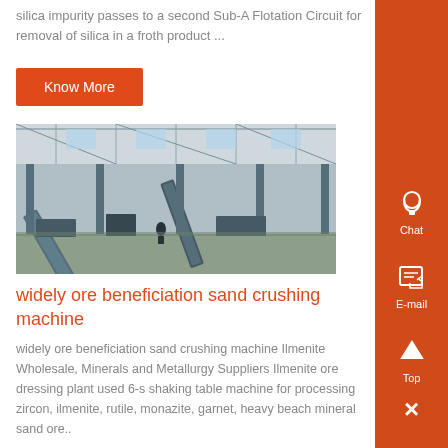silica impurity passes to a second Sub-A Flotation Circuit for removal of silica in a froth product ...
Know More
[Figure (photo): Industrial factory interior showing conveyor belt machinery and steel structure]
widely ore beneficiation sand crushing machine
widely ore beneficiation sand crushing machine Ilmenite Wholesale, Minerals and Metallurgy Suppliers Ilmenite ore dressing plant used 6-s shaking table machine for processing zircon, ilmenite, rutile, monazite, garnet, heavy beach mineral sand ore..
Know More